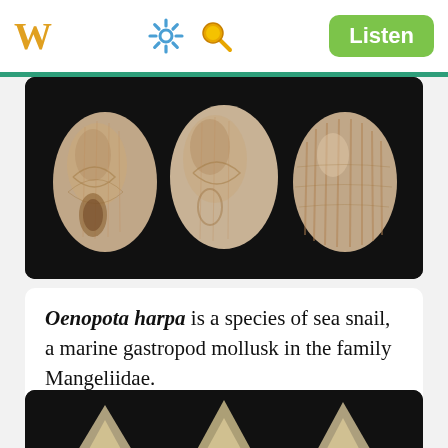W  [gear] [search]  Listen
[Figure (photo): Three views of Oenopota harpa sea snail shell on black background — front, side, and back views showing ribbed texture and beige coloring]
Oenopota harpa is a species of sea snail, a marine gastropod mollusk in the family Mangeliidae.
[Figure (photo): Three views of a tall spire-shaped sea snail shell on black background — three angles showing whitish-cream elongated shell with spiral ridges]